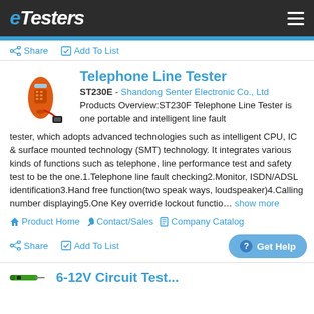eTesters
Share  Add To List
Telephone Line Tester
ST230E  -  Shandong Senter Electronic Co., Ltd
Products Overview:ST230F Telephone Line Tester is one portable and intelligent line fault tester, which adopts advanced technologies such as intelligent CPU, IC & surface mounted technology (SMT) technology. It integrates various kinds of functions such as telephone, line performance test and safety test to be the one.1.Telephone line fault checking2.Monitor, ISDN/ADSL identification3.Hand free function(two speak ways, loudspeaker)4.Calling number displaying5.One Key override lockout functio... show more
Product Home  Contact/Sales  Company Catalog
Share  Add To List